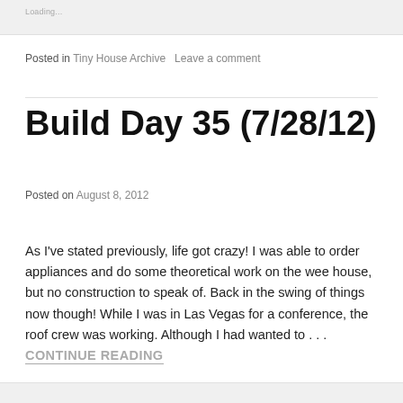Loading...
Posted in Tiny House Archive   Leave a comment
Build Day 35 (7/28/12)
Posted on August 8, 2012
As I've stated previously, life got crazy!  I was able to order appliances and do some theoretical work on the wee house, but no construction to speak of.  Back in the swing of things now though!  While I was in Las Vegas for a conference, the roof crew was working.  Although I had wanted to . . . CONTINUE READING